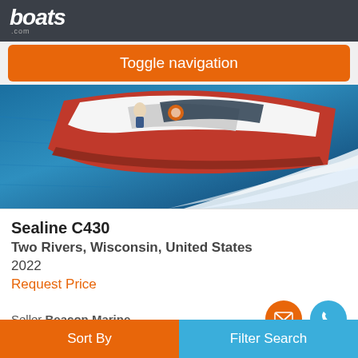boats.com
Toggle navigation
[Figure (photo): A red and white Sealine C430 motorboat speeding through blue ocean water, view from above-rear, with white wake behind it. A person is visible on deck.]
Sealine C430
Two Rivers, Wisconsin, United States
2022
Request Price
Seller Beacon Marine
Advertisement
Sort By  Filter Search